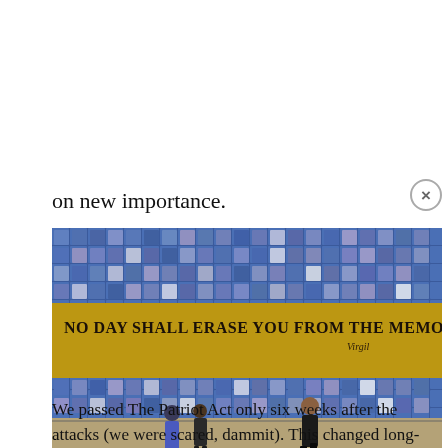on new importance.
[Figure (photo): Interior of the 9/11 memorial museum showing a large blue tile mosaic wall with the inscription 'NO DAY SHALL ERASE YOU FROM THE MEMORY OF TIME - Virgil' on a gold banner. Three people walk in the foreground on a reflective floor.]
inside the 9/11 memorial
We passed The Patriot Act only six weeks after the attacks (we were scared, dammit). This changed long-standing